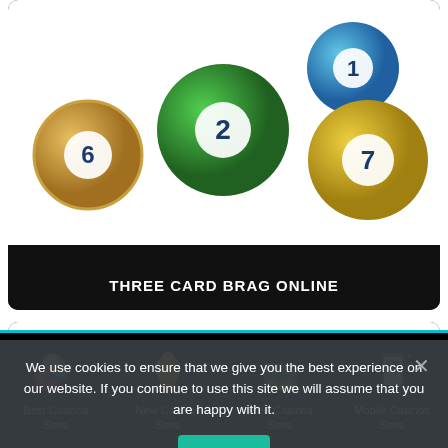[Figure (illustration): Colorful lottery/bingo balls with numbers 6, 2, 1, 7 on white background inside dark-bordered card]
THREE CARD BRAG ONLINE
[Figure (illustration): Colorful lottery/bingo balls with numbers 5, 9, 8, 4 on white background inside dark-bordered card (partially visible)]
We use cookies to ensure that we give you the best experience on our website. If you continue to use this site we will assume that you are happy with it.
Ok
[Figure (illustration): Footer navigation with four icons: colorful bingo balls (Best Casinos Sites), gold trophy (New Casinos Sites), wallet with money (Free Casinos Sites), playing cards on phone (Mobile Casinos Sites)]